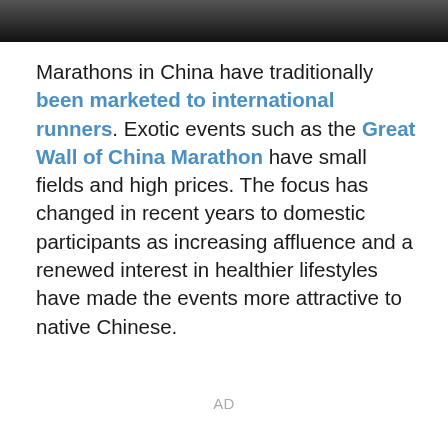[Figure (photo): Dark image bar at top of page, showing a partially visible outdoor scene with dark overlay]
Marathons in China have traditionally been marketed to international runners. Exotic events such as the Great Wall of China Marathon have small fields and high prices. The focus has changed in recent years to domestic participants as increasing affluence and a renewed interest in healthier lifestyles have made the events more attractive to native Chinese.
AD